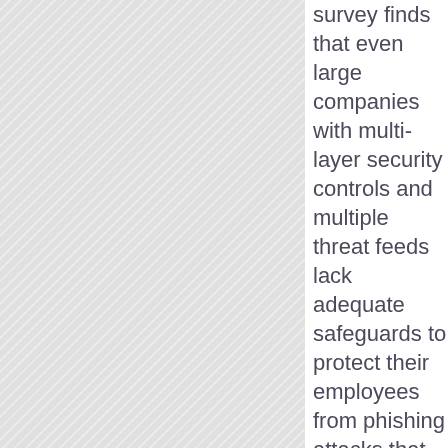survey finds that even large companies with multi-layer security controls and multiple threat feeds lack adequate safeguards to protect their employees from phishing attacks that